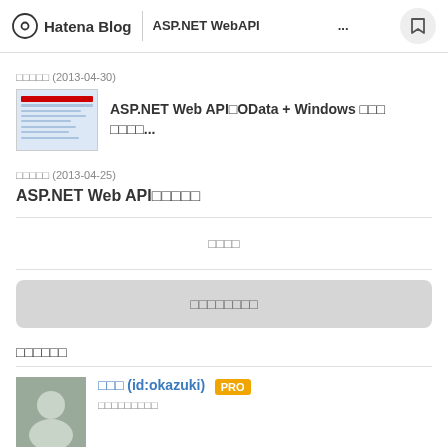Hatena Blog | ASP.NET WebAPI…
□□□□□ (2013-04-30)
ASP.NET Web API□OData + Windows □□□ □□□□...
□□□□□ (2013-04-25)
ASP.NET Web API□□□□□
□□□□
□□□□□□□□
□□□□□□
□□□ (id:okazuki) PRO
□□□□□□□□□